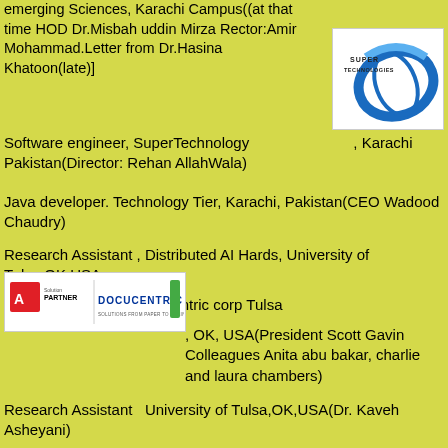emerging Sciences, Karachi Campus((at that time HOD Dr.Misbah uddin Mirza Rector:Amir Mohammad.Letter from Dr.Hasina Khatoon(late)]
[Figure (logo): Super Technologies logo with blue oval and globe graphic]
Software engineer, SuperTechnology, Karachi Pakistan(Director: Rehan AllahWala)
Java developer. Technology Tier, Karachi, Pakistan(CEO Wadood Chaudry)
Research Assistant , Distributed AI Hards, University of Tulsa,OK,USA
Software engineer Docucentric corp Tulsa
[Figure (logo): Adobe Solution Partner and Docucentric logos on white background]
, OK, USA(President Scott Gavin Colleagues Anita abu bakar, charlie and laura chambers)
Research Assistant  University of Tulsa,OK,USA(Dr. Kaveh Asheyani)